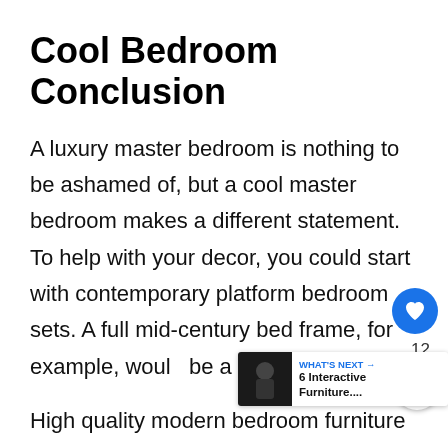Cool Bedroom Conclusion
A luxury master bedroom is nothing to be ashamed of, but a cool master bedroom makes a different statement. To help with your decor, you could start with contemporary platform bedroom sets. A full mid-century bed frame, for example, would be a stylish addition.
High quality modern bedroom furniture will transform your bedroom from squa...
If you wanted to try a crazy color, paint one